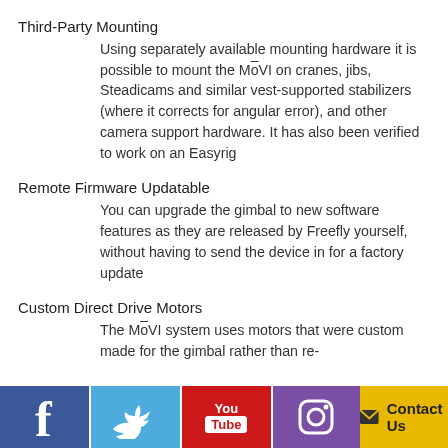Third-Party Mounting
Using separately available mounting hardware it is possible to mount the MōVI on cranes, jibs, Steadicams and similar vest-supported stabilizers (where it corrects for angular error), and other camera support hardware. It has also been verified to work on an Easyrig
Remote Firmware Updatable
You can upgrade the gimbal to new software features as they are released by Freefly yourself, without having to send the device in for a factory update
Custom Direct Drive Motors
The MōVI system uses motors that were custom made for the gimbal rather than re-
[Figure (infographic): Social media footer bar with Facebook, Twitter, YouTube, Instagram icons and a Contact Us button]